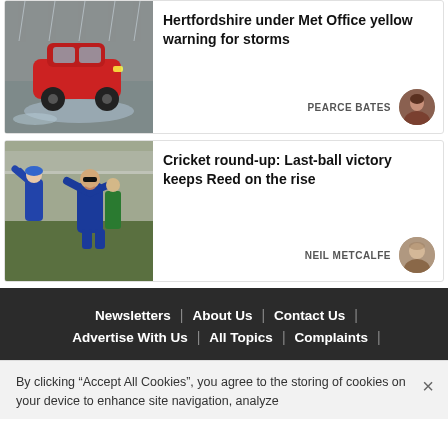[Figure (photo): Red car driving through flood water in heavy rain]
Hertfordshire under Met Office yellow warning for storms
PEARCE BATES
[Figure (photo): Cricket players in blue uniforms celebrating on the field]
Cricket round-up: Last-ball victory keeps Reed on the rise
NEIL METCALFE
Newsletters | About Us | Contact Us | Advertise With Us | All Topics | Complaints |
By clicking “Accept All Cookies”, you agree to the storing of cookies on your device to enhance site navigation, analyze